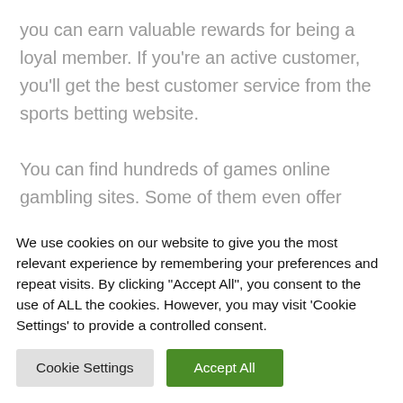you can earn valuable rewards for being a loyal member. If you're an active customer, you'll get the best customer service from the sports betting website.

You can find hundreds of games online gambling sites. Some of them even offer electronic sports. If you're interested in betting or watching professional sports, you'll be able to find many games that will fit your
We use cookies on our website to give you the most relevant experience by remembering your preferences and repeat visits. By clicking "Accept All", you consent to the use of ALL the cookies. However, you may visit 'Cookie Settings' to provide a controlled consent.